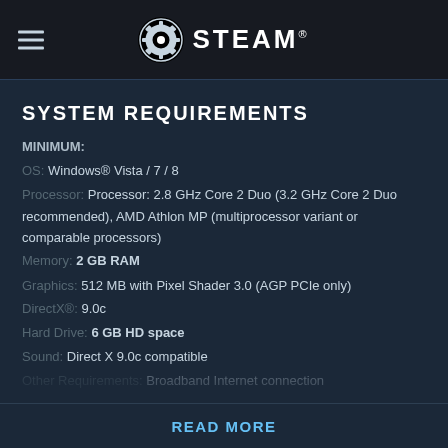STEAM
SYSTEM REQUIREMENTS
MINIMUM:
OS: Windows® Vista / 7 / 8
Processor: Processor: 2.8 GHz Core 2 Duo (3.2 GHz Core 2 Duo recommended), AMD Athlon MP (multiprocessor variant or comparable processors)
Memory: 2 GB RAM
Graphics: 512 MB with Pixel Shader 3.0 (AGP PCIe only)
DirectX®: 9.0c
Hard Drive: 6 GB HD space
Sound: Direct X 9.0c compatible
Other Requirements: Broadband Internet connection
READ MORE